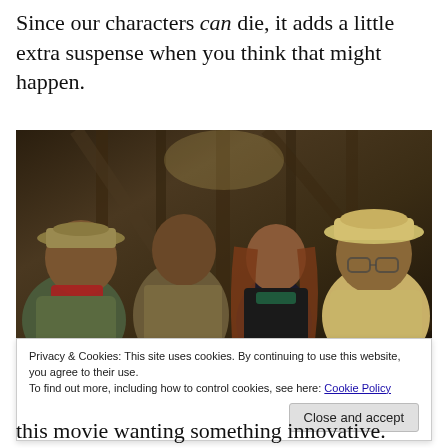Since our characters can die, it adds a little extra suspense when you think that might happen.
[Figure (photo): Movie still showing four characters in adventure/jungle attire inside a darkened wooden structure. Left to right: a heavyset man in a safari hat and red scarf, a tall muscular man in a khaki shirt, a young woman with long auburn hair in dark clothing, and a heavyset man in a pith helmet and glasses wearing a beige jacket.]
Privacy & Cookies: This site uses cookies. By continuing to use this website, you agree to their use.
To find out more, including how to control cookies, see here: Cookie Policy
this movie wanting something innovative.